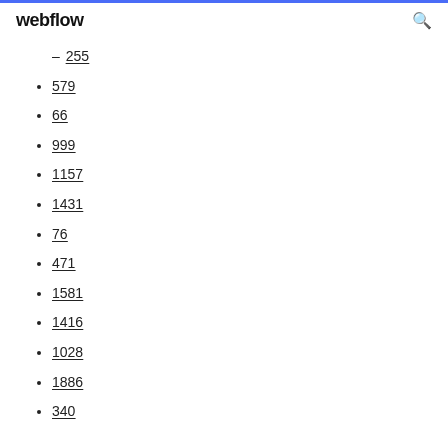webflow
255
579
66
999
1157
1431
76
471
1581
1416
1028
1886
340